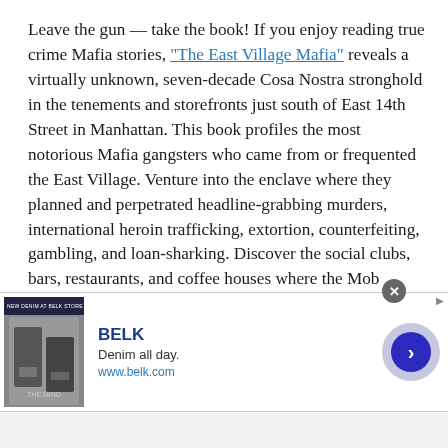Leave the gun — take the book! If you enjoy reading true crime Mafia stories, "The East Village Mafia" reveals a virtually unknown, seven-decade Cosa Nostra stronghold in the tenements and storefronts just south of East 14th Street in Manhattan. This book profiles the most notorious Mafia gangsters who came from or frequented the East Village. Venture into the enclave where they planned and perpetrated headline-grabbing murders, international heroin trafficking, extortion, counterfeiting, gambling, and loan-sharking. Discover the social clubs, bars, restaurants, and coffee houses where the Mob changed the course of organized crime. "The East Village Mafia" is available on Amazon.
[Figure (other): Advertisement banner for Belk department store featuring 'Denim all day.' tagline and www.belk.com URL, with a navigation arrow button and close button.]